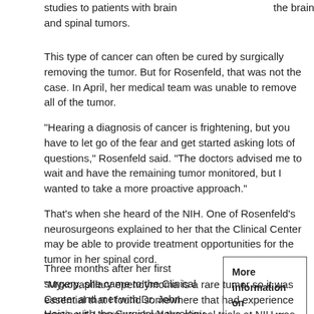studies to patients with brain and spinal tumors.
the brain and spinal cord.
This type of cancer can often be cured by surgically removing the tumor. But for Rosenfeld, that was not the case. In April, her medical team was unable to remove all of the tumor.
"Hearing a diagnosis of cancer is frightening, but you have to let go of the fear and get started asking lots of questions," Rosenfeld said. "The doctors advised me to wait and have the remaining tumor monitored, but I wanted to take a more proactive approach."
That's when she heard of the NIH. One of Rosenfeld's neurosurgeons explained to her that the Clinical Center may be able to provide treatment opportunities for the tumor in her spinal cord.
"Myxopapillary ependymoma is a rare tumor so it was essential that I found somewhere that had experience treating it. Learning about the clinical trials at NIH was fortuitous," Rosenfeld said. "All the brilliant minds for this are here. I feel very fortunate and lucky to be a patient."
Three months after her first surgery, she came to the Clinical Center and met with Dr. John Heiss, with the Surgical Neurology Branch of the National Institute of Neurological
More information on myxopapillary ependymoma